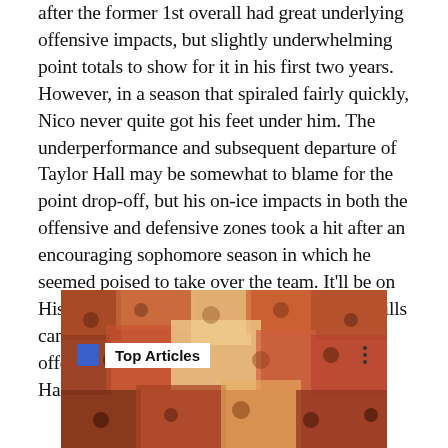after the former 1st overall had great underlying offensive impacts, but slightly underwhelming point totals to show for it in his first two years. However, in a season that spiraled fairly quickly, Nico never quite got his feet under him. The underperformance and subsequent departure of Taylor Hall may be somewhat to blame for the point drop-off, but his on-ice impacts in both the offensive and defensive zones took a hit after an encouraging sophomore season in which he seemed poised to take over the team. It'll be on Hischier this season to prove his defensive skills can translate to preventing shots, and his offensive impacts can result in goals without Hall.
[Figure (photo): Crowd scene photo with orange/red hues, overlaid with a 'Top Articles' label bar featuring a blue rectangle icon and three-dot menu button]